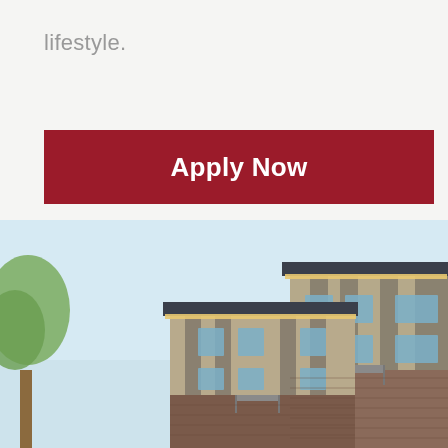lifestyle.
Apply Now
[Figure (photo): Exterior photo of a modern multi-story residential apartment building with brick lower facade, grey/tan vertical siding panels, dark roof overhangs with warm lighting, large windows, balconies, and a green tree visible on the left side against a pale blue sky.]